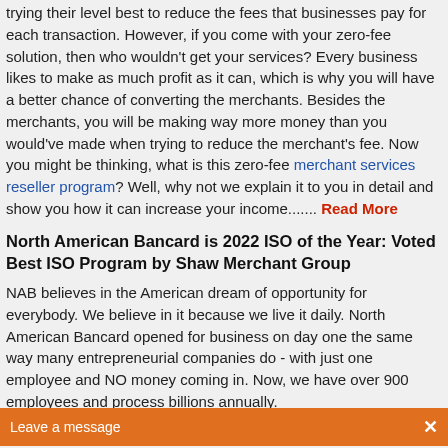trying their level best to reduce the fees that businesses pay for each transaction. However, if you come with your zero-fee solution, then who wouldn't get your services? Every business likes to make as much profit as it can, which is why you will have a better chance of converting the merchants. Besides the merchants, you will be making way more money than you would've made when trying to reduce the merchant's fee. Now you might be thinking, what is this zero-fee merchant services reseller program? Well, why not we explain it to you in detail and show you how it can increase your income....... Read More
North American Bancard is 2022 ISO of the Year: Voted Best ISO Program by Shaw Merchant Group
NAB believes in the American dream of opportunity for everybody. We believe in it because we live it daily. North American Bancard opened for business on day one the same way many entrepreneurial companies do - with just one employee and NO money coming in. Now, we have over 900 employees and process billions annually.
NAB has a ... ving the simple-focused mission of assisting businesses grow and prosper. Today, we have over thousands ... credit card processing ISO partners ... mitment to that mission. By
[Figure (other): Chat popup widget with 'HAVE A QUESTION? LEAVE A MESSAGE' text and orange 'Leave a message' bar at the bottom]